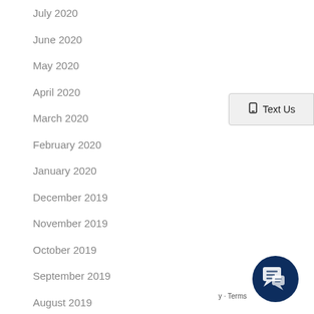July 2020
June 2020
May 2020
April 2020
March 2020
February 2020
January 2020
December 2019
November 2019
October 2019
September 2019
August 2019
July 2019
June 2019
[Figure (screenshot): Text Us button widget on right side with phone icon]
[Figure (screenshot): Dark navy blue circular chat bubble icon in bottom right corner]